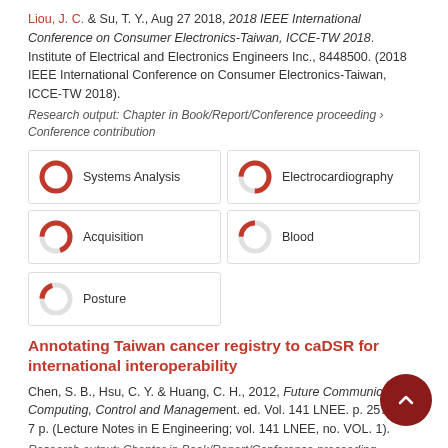Liou, J. C. & Su, T. Y., Aug 27 2018, 2018 IEEE International Conference on Consumer Electronics-Taiwan, ICCE-TW 2018. Institute of Electrical and Electronics Engineers Inc., 8448500. (2018 IEEE International Conference on Consumer Electronics-Taiwan, ICCE-TW 2018).
Research output: Chapter in Book/Report/Conference proceeding › Conference contribution
[Figure (infographic): Five keyword badges with donut-style percentage indicators: Systems Analysis (100%), Electrocardiography (75%), Acquisition (70%), Blood (25%), Posture (20%)]
Annotating Taiwan cancer registry to caDSR for international interoperability
Chen, S. B., Hsu, C. Y. & Huang, C. H., 2012, Future Communication, Computing, Control and Management. ed. Vol. 141 LNEE. p. 257-263 7 p. (Lecture Notes in Electrical Engineering; vol. 141 LNEE, no. VOL. 1).
Research output: Chapter in Book/Report/Conference proceeding ›